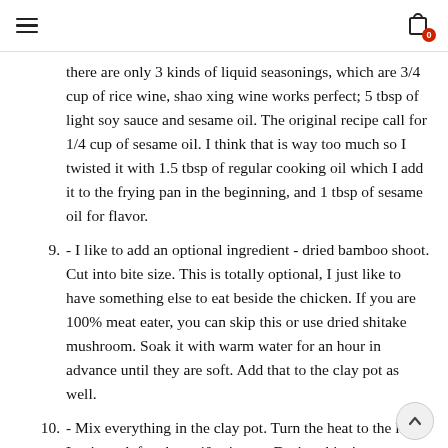≡  [cart icon with badge 0]
there are only 3 kinds of liquid seasonings, which are 3/4 cup of rice wine, shao xing wine works perfect; 5 tbsp of light soy sauce and sesame oil. The original recipe call for 1/4 cup of sesame oil. I think that is way too much so I twisted it with 1.5 tbsp of regular cooking oil which I add it to the frying pan in the beginning, and 1 tbsp of sesame oil for flavor.
9. - I like to add an optional ingredient - dried bamboo shoot. Cut into bite size. This is totally optional, I just like to have something else to eat beside the chicken. If you are 100% meat eater, you can skip this or use dried shitake mushroom. Soak it with warm water for an hour in advance until they are soft. Add that to the clay pot as well.
10. - Mix everything in the clay pot. Turn the heat to the low. Let it cook for about 40 minutes. During this time, you want to come back every 10 minutes to give it a stir. As you can see, the sauce is at a low level, the top part of the